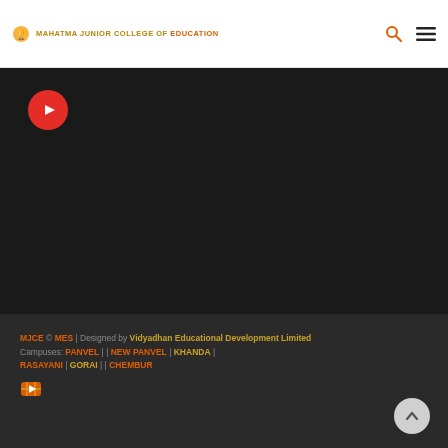MAHATMA JUNIOR COLLEGE OF EDUCATION
[Figure (logo): YouTube play button red circle icon in dark header section]
MJCE © MES | Designed by Vidyadhan Educational Development Limited
Campuses: PANVEL | | NEW PANVEL | KHANDA | RASAYANI | GORAI | | CHEMBUR